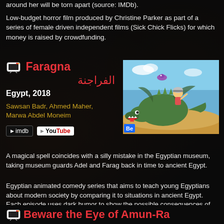around her will be torn apart (source: IMDb).
Low-budget horror film produced by Christine Parker as part of a series of female driven independent films (Sick Chick Flicks) for which money is raised by crowdfunding.
Faragna الفراجنة Egypt, 2018
Sawsan Badr, Ahmed Maher, Marwa Abdel Moneim
[Figure (photo): Animated film still showing a cartoon girl riding a large green dragon-like creature over a sandy desert landscape, with a small creature flying above. Behance watermark visible.]
imdb | YouTube (badge links)
A magical spell coincides with a silly mistake in the Egyptian museum, taking museum guards Adel and Farag back in time to ancient Egypt.
Egyptian animated comedy series that aims to teach young Egyptians about modern society by comparing it to situations in ancient Egypt. Each episode uses dark humor to show the possible consequences of certain actions. Made by Benchmark Animation Lab, a Cairo based firm.
Beware the Eye of Amun-Ra